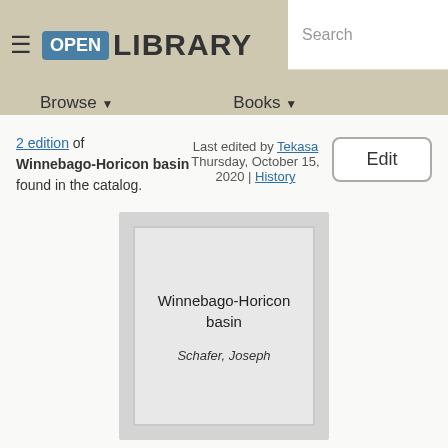Open Library — Browse | Books | Search
2 edition of Winnebago-Horicon basin found in the catalog.
Last edited by Tekasa
Thursday, October 15, 2020 | History
Edit
[Figure (illustration): Book cover placeholder card showing title 'Winnebago-Horicon basin' and author 'Schafer, Joseph' on a grey background]